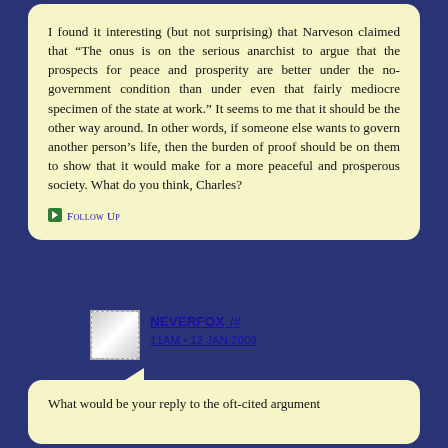I found it interesting (but not surprising) that Narveson claimed that “The onus is on the serious anarchist to argue that the prospects for peace and prosperity are better under the no-government condition than under even that fairly mediocre specimen of the state at work.” It seems to me that it should be the other way around. In other words, if someone else wants to govern another person’s life, then the burden of proof should be on them to show that it would make for a more peaceful and prosperous society. What do you think, Charles?
Follow Up
NEVERFOX /#
11AM • 12 JAN 2009
What would be your reply to the oft-cited argument